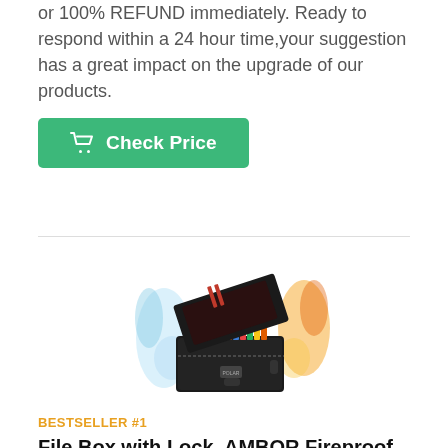or 100% REFUND immediately. Ready to respond within a 24 hour time,your suggestion has a great impact on the upgrade of our products.
[Figure (other): Green 'Check Price' button with shopping cart icon]
[Figure (photo): Black fireproof file box with lock, open showing colorful hanging folders, with water and fire effects in background]
BESTSELLER #1
File Box with Lock, AMBOR Fireproof Document Box with 7 Tabs & La...